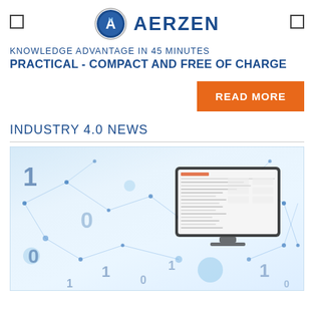AERZEN
KNOWLEDGE ADVANTAGE IN 45 MINUTES
PRACTICAL - COMPACT AND FREE OF CHARGE
READ MORE
INDUSTRY 4.0 NEWS
[Figure (illustration): Industry 4.0 themed illustration showing a digital network/IoT concept with blue connected nodes, binary digits (0s and 1s) floating in a light blue background, and a tablet/monitor in the center displaying a software interface dashboard.]